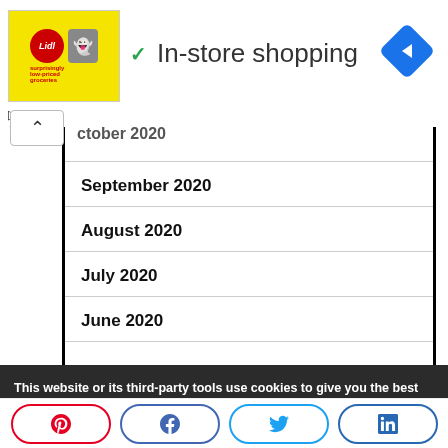[Figure (logo): Lidl advertisement logo with ghost icon on yellow background]
In-store shopping
October 2020
September 2020
August 2020
July 2020
June 2020
This website or its third-party tools use cookies to give you the best experience on our website. By closing this banner, scrolling this page, clicking a link or continuing to browse otherwise, you agree to the use of cookies.
You can find out more about which cookies we are using or switch them off in settings.